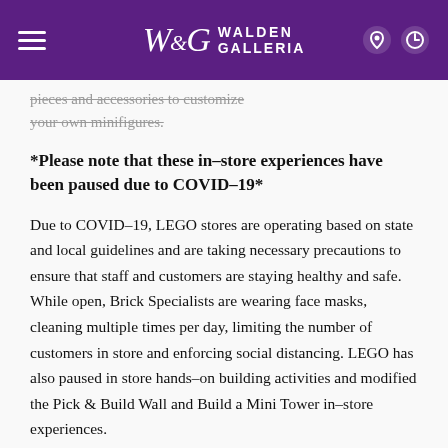Walden Galleria
pieces and accessories to customize your own minifigures.
*Please note that these in-store experiences have been paused due to COVID-19*
Due to COVID-19, LEGO stores are operating based on state and local guidelines and are taking necessary precautions to ensure that staff and customers are staying healthy and safe. While open, Brick Specialists are wearing face masks, cleaning multiple times per day, limiting the number of customers in store and enforcing social distancing. LEGO has also paused in store hands-on building activities and modified the Pick & Build Wall and Build a Mini Tower in-store experiences.